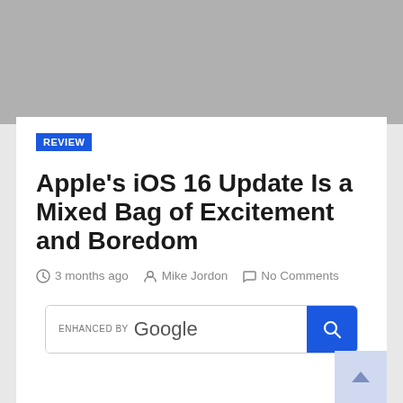[Figure (other): Gray banner placeholder image at top of page]
REVIEW
Apple's iOS 16 Update Is a Mixed Bag of Excitement and Boredom
3 months ago  Mike Jordon  No Comments
[Figure (other): Google search bar with 'ENHANCED BY Google' label and blue search button with magnifying glass icon]
[Figure (other): Back-to-top button with chevron arrow, light blue background, bottom right corner]